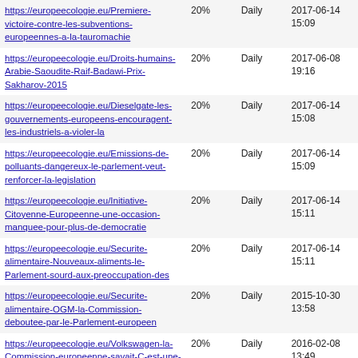| URL | Priority | Change Freq | Last Modified |
| --- | --- | --- | --- |
| https://europeecologie.eu/Premiere-victoire-contre-les-subventions-europeennes-a-la-tauromachie | 20% | Daily | 2017-06-14 15:09 |
| https://europeecologie.eu/Droits-humains-Arabie-Saoudite-Raif-Badawi-Prix-Sakharov-2015 | 20% | Daily | 2017-06-08 19:16 |
| https://europeecologie.eu/Dieselgate-les-gouvernements-europeens-encouragent-les-industriels-a-violer-la | 20% | Daily | 2017-06-14 15:08 |
| https://europeecologie.eu/Emissions-de-polluants-dangereux-le-parlement-veut-renforcer-la-legislation | 20% | Daily | 2017-06-14 15:09 |
| https://europeecologie.eu/Initiative-Citoyenne-Europeenne-une-occasion-manquee-pour-plus-de-democratie | 20% | Daily | 2017-06-14 15:11 |
| https://europeecologie.eu/Securite-alimentaire-Nouveaux-aliments-le-Parlement-sourd-aux-preoccupation-des | 20% | Daily | 2017-06-14 15:11 |
| https://europeecologie.eu/Securite-alimentaire-OGM-la-Commission-deboutee-par-le-Parlement-europeen | 20% | Daily | 2015-10-30 13:58 |
| https://europeecologie.eu/Volkswagen-la-Commission-europeenne-savait-C-est-une-escroquerie-en-bande | 20% | Daily | 2016-02-08 13:49 |
| https://europeecologie.eu/Scandale-Volkswagen-apres-la-fraude-et-l-escroquerie-la-grande-mascarade-du | 20% | Daily | 2017-06-14 15:10 |
| https://europeecologie.eu/Paquet-telecom-consommateurs-dupes-sur-les-frais-d-itinerance-et-neutralite-du | 20% | Daily | 2015-10-27 16:01 |
| https://europeecologie.eu/Ebola-tirer-les-lecons-des-erreurs-pour-mieux-gerer-les-crises-sanitaires-a-l | 20% | Daily | 2015-10-27 15:37 |
| https://europeecologie.eu/Luxleaks-Aller-... | 20% | Daily | 2017-06-14 ... |